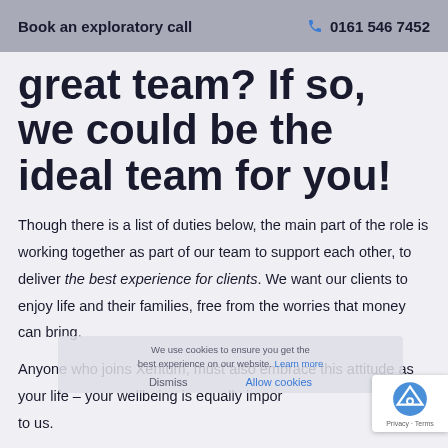Book an exploratory call   0161 546 7452
great team? If so, we could be the ideal team for you!
Though there is a list of duties below, the main part of the role is working together as part of our team to support each other, to deliver the best experience for clients. We want our clients to enjoy life and their families, free from the worries that money can bring.
Anyone who joins Xentum, must also embrace this attitude as your life – your wellbeing is equally important to us.